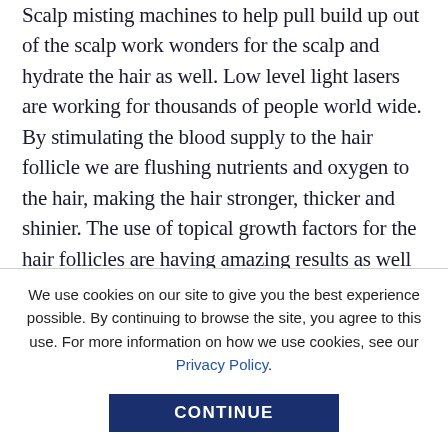Scalp misting machines to help pull build up out of the scalp work wonders for the scalp and hydrate the hair as well. Low level light lasers are working for thousands of people world wide. By stimulating the blood supply to the hair follicle we are flushing nutrients and oxygen to the hair, making the hair stronger, thicker and shinier. The use of topical growth factors for the hair follicles are having amazing results as well as Platelet-Rich Plasma (PRP) treatments for the scalp. For those who cannot get back their hair, the
We use cookies on our site to give you the best experience possible. By continuing to browse the site, you agree to this use. For more information on how we use cookies, see our Privacy Policy.
CONTINUE